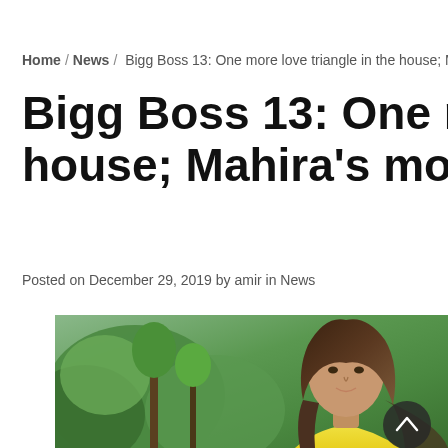Home / News / Bigg Boss 13: One more love triangle in the house; Mahira
Bigg Boss 13: One more love triangle in the house; Mahira's mom affect…
Posted on December 29, 2019 by amir in News
[Figure (photo): A woman with long brown hair wearing a yellow outfit, photographed outdoors with green trees and hills in the background. A dark circular scroll-up button is visible in the lower right.]